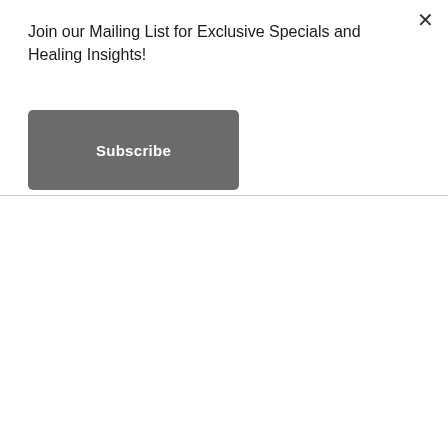Join our Mailing List for Exclusive Specials and Healing Insights!
Subscribe
[Figure (photo): Black and white photograph of a lone silhouetted person walking on a large diagonal surface with dramatic light and shadow contrast]
#1 - You've been having new nightmares that don't relate to your waking life
[Figure (photo): Black and white photograph showing hands reaching over what appears to be a surface, partially visible at bottom of page]